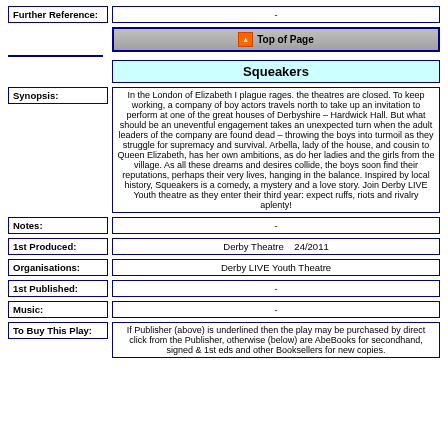| Field | Value |
| --- | --- |
| Further Reference: | - |
| Synopsis: | In the London of Elizabeth I plague rages. the theatres are closed. To keep working, a company of boy actors travels north to take up an invitation to perform at one of the great houses of Derbyshire – Hardwick Hall. But what should be an uneventful engagement takes an unexpected turn when the adult leaders of the company are found dead – throwing the boys into turmoil as they struggle for supremacy and survival. Arbella, lady of the house, and cousin to Queen Elizabeth, has her own ambitions, as do her ladies and the girls from the village. As all these dreams and desires collide, the boys soon find their reputations, perhaps their very lives, hanging in the balance. Inspired by local history, Squeakers is a comedy, a mystery and a love story. Join Derby LIVE Youth theatre as they enter their third year: expect ruffs, riots and rivalry aplenty! |
| Notes: | - |
| 1st Produced: | Derby Theatre    24/2011 |
| Organisations: | Derby LIVE Youth Theatre |
| 1st Published: | - |
| Music: | - |
| To Buy This Play: | If Publisher (above) is underlined then the play may be purchased by direct click from the Publisher, otherwise (below) are AbeBooks for secondhand, signed & 1st eds and other Booksellers for new copies. |